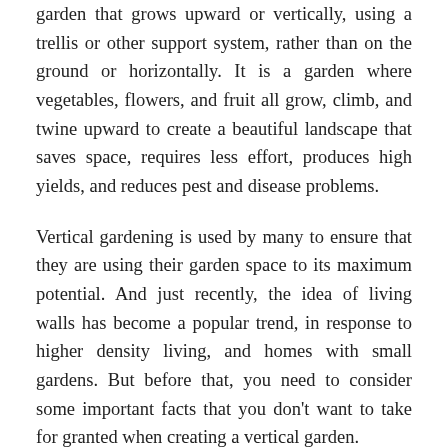garden that grows upward or vertically, using a trellis or other support system, rather than on the ground or horizontally. It is a garden where vegetables, flowers, and fruit all grow, climb, and twine upward to create a beautiful landscape that saves space, requires less effort, produces high yields, and reduces pest and disease problems.
Vertical gardening is used by many to ensure that they are using their garden space to its maximum potential. And just recently, the idea of living walls has become a popular trend, in response to higher density living, and homes with small gardens. But before that, you need to consider some important facts that you don't want to take for granted when creating a vertical garden.